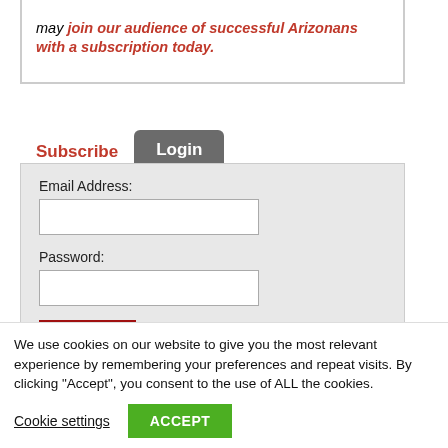may join our audience of successful Arizonans with a subscription today.
Subscribe | Login
[Figure (screenshot): Login form with Email Address and Password fields and a Log In button]
[Figure (illustration): Accessibility icon: person with arms outstretched in a blue circle]
We use cookies on our website to give you the most relevant experience by remembering your preferences and repeat visits. By clicking “Accept”, you consent to the use of ALL the cookies.
Cookie settings
ACCEPT